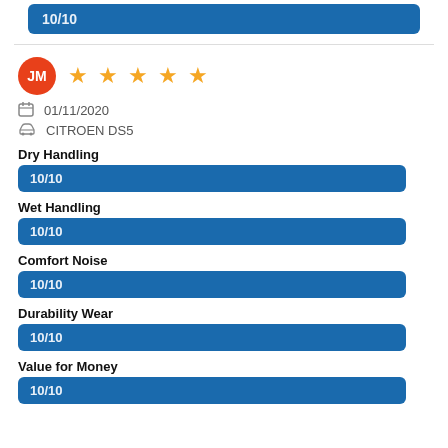[Figure (infographic): Top blue rating bar showing 10/10]
JM ★★★★★ 01/11/2020 CITROEN DS5
Dry Handling 10/10
Wet Handling 10/10
Comfort Noise 10/10
Durability Wear 10/10
Value for Money 10/10